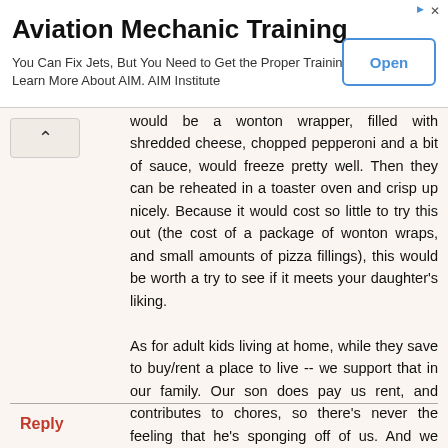[Figure (screenshot): Advertisement banner for Aviation Mechanic Training by AIM Institute with an 'Open' button]
would be a wonton wrapper, filled with shredded cheese, chopped pepperoni and a bit of sauce, would freeze pretty well. Then they can be reheated in a toaster oven and crisp up nicely. Because it would cost so little to try this out (the cost of a package of wonton wraps, and small amounts of pizza fillings), this would be worth a try to see if it meets your daughter's liking.

As for adult kids living at home, while they save to buy/rent a place to live -- we support that in our family. Our son does pay us rent, and contributes to chores, so there's never the feeling that he's sponging off of us. And we kinda like the guy! ;-)
Reply